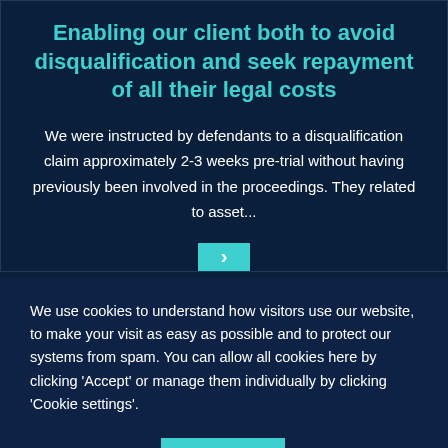Enabling our client both to avoid disqualification and seek repayment of all their legal costs
We were instructed by defendants to a disqualification claim approximately 2-3 weeks pre-trial without having previously been involved in the proceedings. They related to asset...
We use cookies to understand how visitors use our website, to make your visit as easy as possible and to protect our systems from spam. You can allow all cookies here by clicking 'Accept' or manage them individually by clicking 'Cookie settings'.